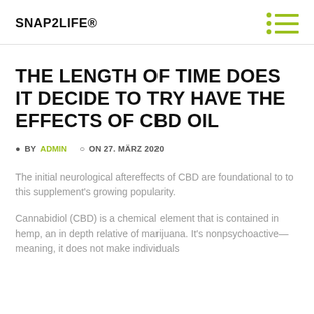SNAP2LIFE®
THE LENGTH OF TIME DOES IT DECIDE TO TRY HAVE THE EFFECTS OF CBD OIL
BY ADMIN  ON 27. MÄRZ 2020
The initial neurological aftereffects of CBD are foundational to to this supplement's growing popularity.
Cannabidiol (CBD) is a chemical element that is contained in hemp, an in depth relative of marijuana. It's nonpsychoactive—meaning, it does not make individuals